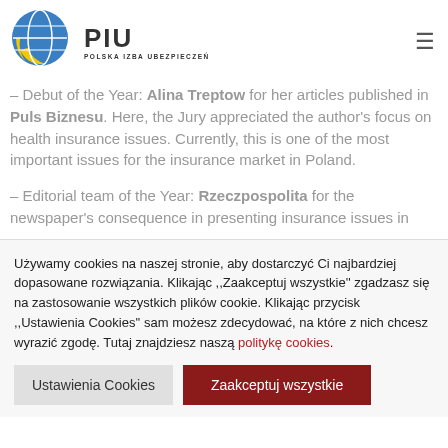[Figure (logo): PIU Polska Izba Ubezpieczeń logo with blue/yellow globe icon]
– Debut of the Year: Alina Treptow for her articles published in Puls Biznesu. Here, the Jury appreciated the author's focus on health insurance issues. Currently, this is one of the most important issues for the insurance market in Poland.
– Editorial team of the Year: Rzeczpospolita for the newspaper's consequence in presenting insurance issues in
Używamy cookies na naszej stronie, aby dostarczyć Ci najbardziej dopasowane rozwiązania. Klikając ,,Zaakceptuj wszystkie'' zgadzasz się na zastosowanie wszystkich plików cookie. Klikając przycisk ,,Ustawienia Cookies'' sam możesz zdecydować, na które z nich chcesz wyrazić zgodę. Tutaj znajdziesz naszą politykę cookies.